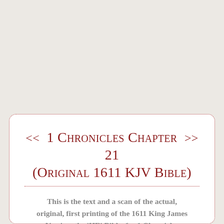<< 1 Chronicles Chapter 21 >> (Original 1611 KJV Bible)
This is the text and a scan of the actual, original, first printing of the 1611 King James Version, the 'HE' Bible, for 1 Chronicles Chapter 21. The KJV does not get more